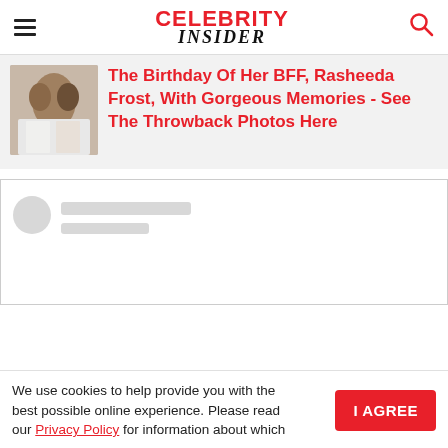CELEBRITY INSIDER
[Figure (photo): Two women posing together at an event, wearing white outfits]
The Birthday Of Her BFF, Rasheeda Frost, With Gorgeous Memories - See The Throwback Photos Here
[Figure (screenshot): Social media embed placeholder with grey avatar circle and two grey loading bars]
We use cookies to help provide you with the best possible online experience. Please read our Privacy Policy for information about which
I AGREE